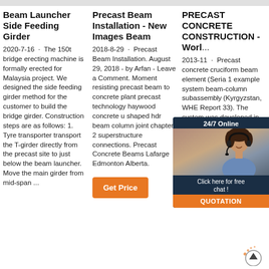Beam Launcher Side Feeding Girder
2020-7-16 · The 150t bridge erecting machine is formally erected for Malaysia project. We designed the side feeding girder method for the customer to build the bridge girder. Construction steps are as follows: 1. Tyre transporter transport the T-girder directly from the precast site to just below the beam launcher. Move the main girder from mid-span ...
Precast Beam Installation - New Images Beam
2018-8-29 · Precast Beam Installation. August 29, 2018 - by Arfan - Leave a Comment. Moment resisting precast beam to concrete plant precast technology haywood concrete u shaped hdr beam column joint chapter 2 superstructure connections. Precast Concrete Beams Lafarge Edmonton Alberta.
PRECAST CONCRETE CONSTRUCTION - World...
2013-11 · Precast concrete cruciform beam element (Seria 1 example system beam-column subassembly (Kyrgyzstan, WHE Report 33). The system was developed in Kyrgyzstan in 1975. The load-bearing structure consists of a precast reinforced concrete space frame
[Figure (photo): Chat popup overlay showing a woman with headset, '24/7 Online' header, 'Click here for free chat!' text, and orange QUOTATION button]
[Figure (logo): TOP scroll-to-top button icon with orange sparkle decoration at bottom right]
Get Price (orange button, column 2)